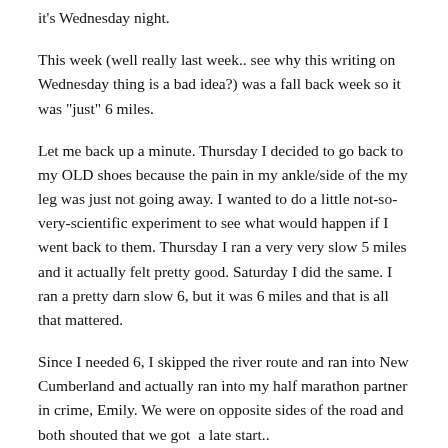it's Wednesday night.
This week (well really last week.. see why this writing on Wednesday thing is a bad idea?) was a fall back week so it was "just" 6 miles.
Let me back up a minute. Thursday I decided to go back to my OLD shoes because the pain in my ankle/side of the my leg was just not going away. I wanted to do a little not-so-very-scientific experiment to see what would happen if I went back to them. Thursday I ran a very very slow 5 miles and it actually felt pretty good. Saturday I did the same. I ran a pretty darn slow 6, but it was 6 miles and that is all that mattered.
Since I needed 6, I skipped the river route and ran into New Cumberland and actually ran into my half marathon partner in crime, Emily. We were on opposite sides of the road and both shouted that we got  a late start..